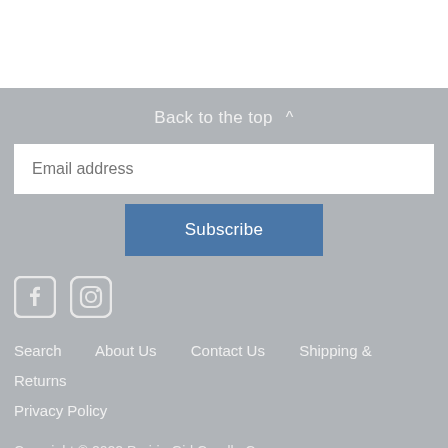Back to the top ^
Email address
Subscribe
[Figure (illustration): Facebook and Instagram social media icons in white/light color on gray background]
Search    About Us    Contact Us    Shipping & Returns
Privacy Policy
Copyright © 2022 Prairie Girl Candle Co.
Theme by Store Themes. Powered by Shopify